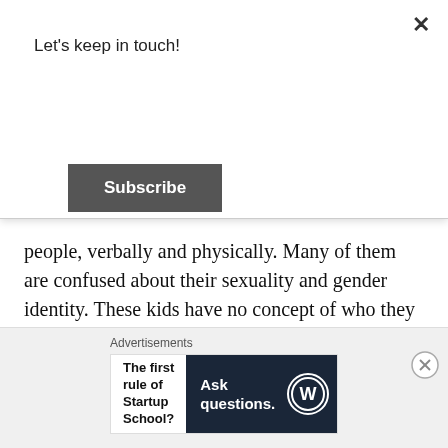Let's keep in touch!
Subscribe
people, verbally and physically. Many of them are confused about their sexuality and gender identity. These kids have no concept of who they are, and it permeates every area of their lives. They are miserable.
But God loves them and created them. I try to tell them that as much as I can. I want them to know they are created who they are for a purpose.
Advertisements
[Figure (screenshot): Advertisement banner: left side white with text 'The first rule of Startup School?', right side dark navy with WordPress logo and text 'Ask questions.']